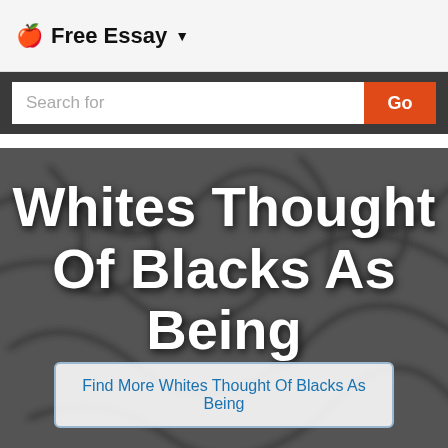🍎 Free Essay ▼
Search for
[Figure (screenshot): Dark background with blurred handwritten text scrawled across it, overlaid with large white bold title text reading 'Whites Thought Of Blacks As Being' and a button below reading 'Find More Whites Thought Of Blacks As Being']
Whites Thought Of Blacks As Being
Find More Whites Thought Of Blacks As Being